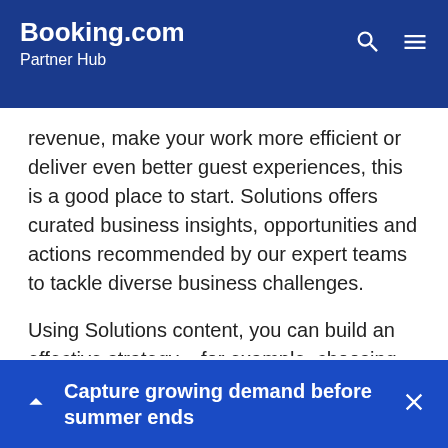Booking.com Partner Hub
revenue, make your work more efficient or deliver even better guest experiences, this is a good place to start. Solutions offers curated business insights, opportunities and actions recommended by our expert teams to tackle diverse business challenges.
Using Solutions content, you can build an effective strategy – for example, choosing the right pricing plan – and identify the opportunities that will help you achieve your business goals on our platform.
Partner Community
This is a dedicated space for you to connect with fellow Booking.com partners and the Partner Community
Capture growing demand before summer ends